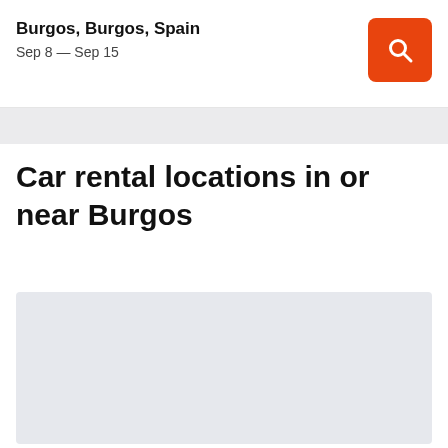Burgos, Burgos, Spain
Sep 8 — Sep 15
Car rental locations in or near Burgos
[Figure (map): Map area placeholder showing car rental locations in or near Burgos, Spain]